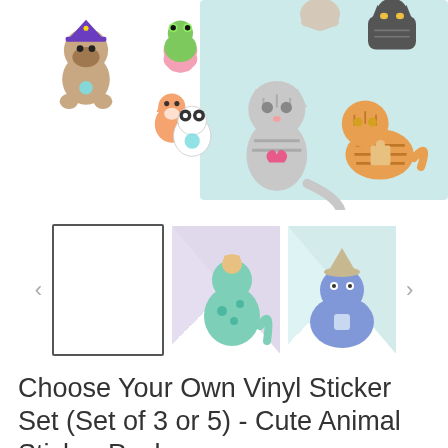[Figure (photo): Product photo showing cute animal vinyl stickers including a pug in a witch hat, frog on lotus, fox and panda, gray tabby cat, orange tabby cat, and a black cat, arranged on a light blue background]
[Figure (photo): Three thumbnail images: first is blank/white (currently selected), second shows a dinosaur sticker on purple/white background, third shows a blue whale or dinosaur sticker on teal/white background]
Choose Your Own Vinyl Sticker Set (Set of 3 or 5) - Cute Animal Sticker Pack